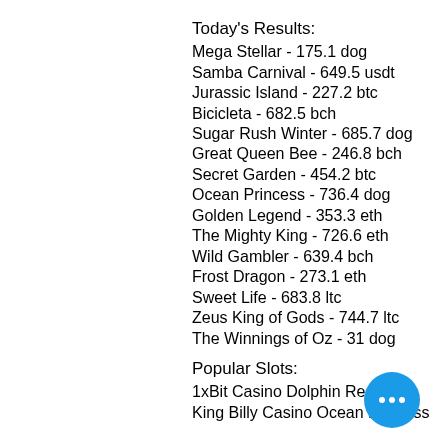Today's Results:
Mega Stellar - 175.1 dog
Samba Carnival - 649.5 usdt
Jurassic Island - 227.2 btc
Bicicleta - 682.5 bch
Sugar Rush Winter - 685.7 dog
Great Queen Bee - 246.8 bch
Secret Garden - 454.2 btc
Ocean Princess - 736.4 dog
Golden Legend - 353.3 eth
The Mighty King - 726.6 eth
Wild Gambler - 639.4 bch
Frost Dragon - 273.1 eth
Sweet Life - 683.8 ltc
Zeus King of Gods - 744.7 ltc
The Winnings of Oz - 31 dog
Popular Slots:
1xBit Casino Dolphin Reef
King Billy Casino Ocean Princess